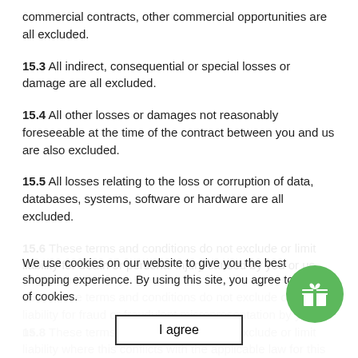commercial contracts, other commercial opportunities are all excluded.
15.3 All indirect, consequential or special losses or damage are all excluded.
15.4 All other losses or damages not reasonably foreseeable at the time of the contract between you and us are also excluded.
15.5 All losses relating to the loss or corruption of data, databases, systems, software or hardware are all excluded.
15.6 These terms and conditions do not exclude or limit liability for death or personal injury caused by you or us.
15.7 These terms and conditions do not exclude or limit liability for fraud or fraudulent misrepresentation by you or us.
15.8 These terms and conditions do not exclude or limit liability where this conflicts with the applicable law for this
We use cookies on our website to give you the best shopping experience. By using this site, you agree to its use of cookies.